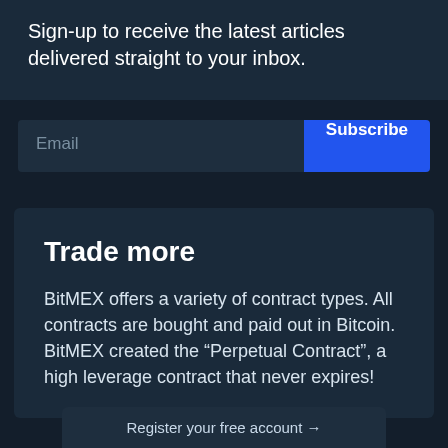Sign-up to receive the latest articles delivered straight to your inbox.
Email
Subscribe
Trade more
BitMEX offers a variety of contract types. All contracts are bought and paid out in Bitcoin. BitMEX created the “Perpetual Contract”, a high leverage contract that never expires!
Register your free account